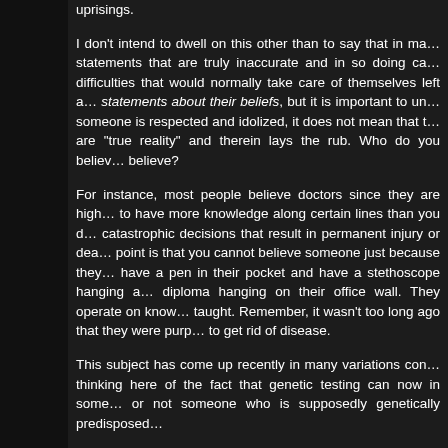uprisings.
I don't intend to dwell on this other than to say that in ma… statements that are truly inaccurate and in so doing ca… difficulties that would normally take care of themselves left a… statements about their beliefs, but it is important to un… someone is respected and idolized, it does not mean that t… are "true reality" and therein lays the rub. Who do you believ… believe?
For instance, most people believe doctors since they are high… to have more knowledge along certain lines than you d… catastrophic decisions that result in permanent injury or dea… point is that you cannot believe someone just because they… have a pen in their pocket and have a stethoscope hanging a… diploma hanging on their office wall. They operate on know… taught. Remember, it wasn't too long ago that they were purp… to get rid of disease.
This subject has come up recently in many variations con… thinking here of the fact that genetic testing can now in some… or not someone who is supposedly genetically predisposed…